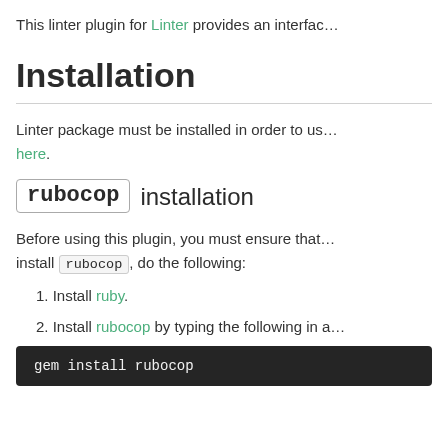This linter plugin for Linter provides an interface…
Installation
Linter package must be installed in order to use… here.
rubocop installation
Before using this plugin, you must ensure that… install rubocop, do the following:
1. Install ruby.
2. Install rubocop by typing the following in a…
gem install rubocop